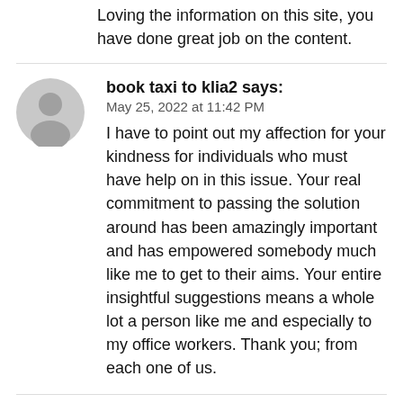Loving the information on this site, you have done great job on the content.
book taxi to klia2 says:
May 25, 2022 at 11:42 PM
I have to point out my affection for your kindness for individuals who must have help on in this issue. Your real commitment to passing the solution around has been amazingly important and has empowered somebody much like me to get to their aims. Your entire insightful suggestions means a whole lot a person like me and especially to my office workers. Thank you; from each one of us.
buy Eu driving license says: